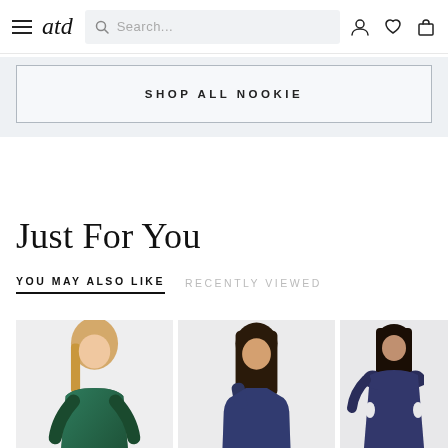atd — navigation bar with hamburger menu, logo, search bar, and user/wishlist/cart icons
SHOP ALL NOOKIE
Just For You
YOU MAY ALSO LIKE   RECENTLY VIEWED
[Figure (photo): Three fashion product photos showing women in formal/party dresses: first in a dark green long-sleeve deep V-neck gown, second in a navy blue one-shoulder midi dress, third in a navy/purple long-sleeve cut-out gown. Photos are partially cropped at the bottom.]